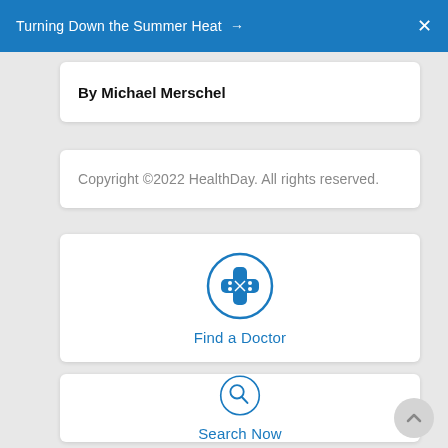Turning Down the Summer Heat → X
By Michael Merschel
Copyright ©2022 HealthDay. All rights reserved.
[Figure (illustration): Find a Doctor icon: bandage cross symbol inside a circle, with text 'Find a Doctor' below]
[Figure (illustration): Search Now icon: magnifying glass symbol inside a circle, with text 'Search Now' below]